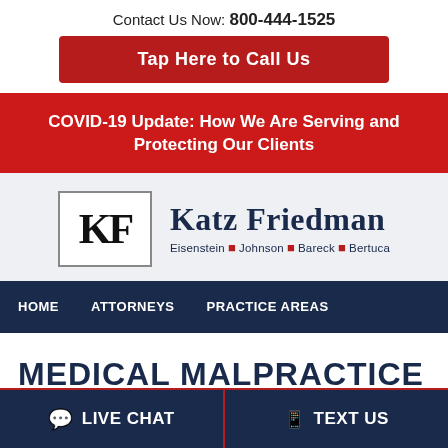Contact Us Now: 800-444-1525
Tap Here to Call Us
COVID-19 Update: How We Are Serving and Protecting Our Clients
[Figure (logo): Katz Friedman law firm logo with KF monogram and names Eisenstein, Johnson, Bareck, Bertuca]
HOME   ATTORNEYS   PRACTICE AREAS
MEDICAL MALPRACTICE
LIVE CHAT   TEXT US